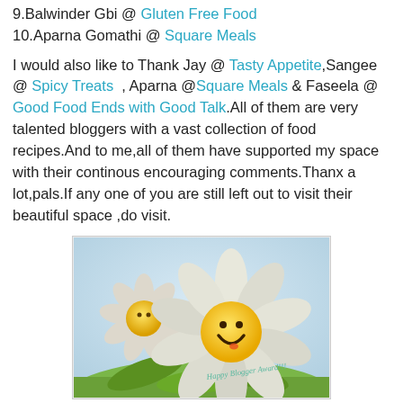9.Balwinder Gbi @ Gluten Free Food
10.Aparna Gomathi @ Square Meals
I would also like to Thank Jay @ Tasty Appetite,Sangee @ Spicy Treats  , Aparna @Square Meals & Faseela @ Good Food Ends with Good Talk.All of them are very talented bloggers with a vast collection of food recipes.And to me,all of them have supported my space with their continous encouraging comments.Thanx a lot,pals.If any one of you are still left out to visit their beautiful space ,do visit.
[Figure (illustration): Illustration of two daisy flowers with smiley face centers. The larger flower in the foreground has a yellow smiley face and white petals. Text reads 'Happy Blogger Award!!!' on the petal.]